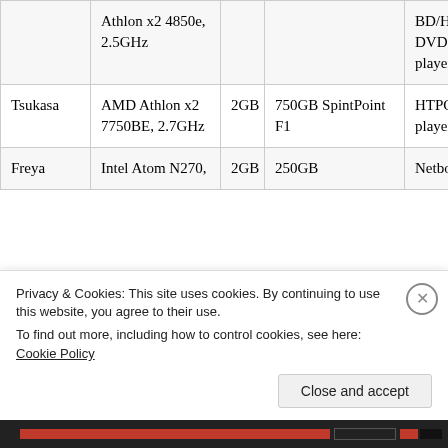| Name | CPU | RAM | Storage | Type |
| --- | --- | --- | --- | --- |
|  | Athlon x2 4850e, 2.5GHz |  |  | BD/HD-DVD player |
| Tsukasa | AMD Athlon x2 7750BE, 2.7GHz | 2GB | 750GB SpintPoint F1 | HTPC, BD player |
| Freya | Intel Atom N270, | 2GB | 250GB | Netbook |
Privacy & Cookies: This site uses cookies. By continuing to use this website, you agree to their use.
To find out more, including how to control cookies, see here: Cookie Policy
Close and accept